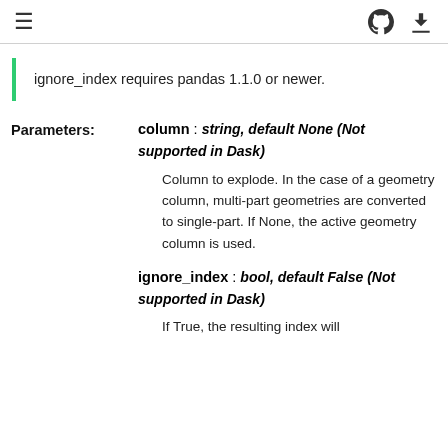≡  [github icon] [download icon]
ignore_index requires pandas 1.1.0 or newer.
Parameters:

column : string, default None (Not supported in Dask)

Column to explode. In the case of a geometry column, multi-part geometries are converted to single-part. If None, the active geometry column is used.

ignore_index : bool, default False (Not supported in Dask)

If True, the resulting index will